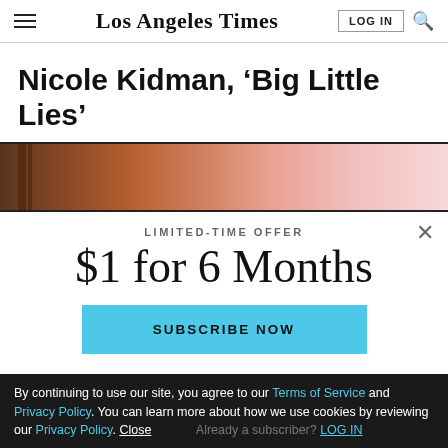Los Angeles Times
Nicole Kidman, ‘Big Little Lies’
[Figure (photo): Blurred/abstract photo strip with warm pink and brown tones, appearing to be a cropped portion of a larger image]
LIMITED-TIME OFFER
$1 for 6 Months
SUBSCRIBE NOW
By continuing to use our site, you agree to our Terms of Service and Privacy Policy. You can learn more about how we use cookies by reviewing our Privacy Policy. Close
Already a subscriber? LOG IN